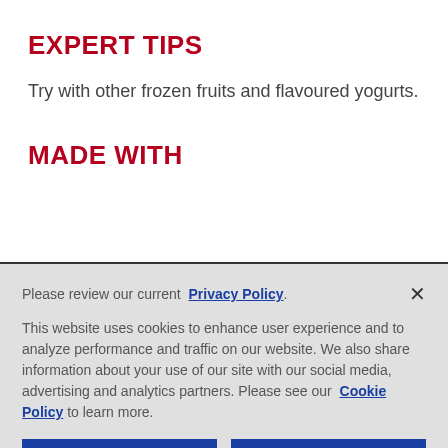EXPERT TIPS
Try with other frozen fruits and flavoured yogurts.
MADE WITH
Please review our current Privacy Policy.

This website uses cookies to enhance user experience and to analyze performance and traffic on our website. We also share information about your use of our site with our social media, advertising and analytics partners. Please see our Cookie Policy to learn more.
Customize Settings | Accept All Cookies